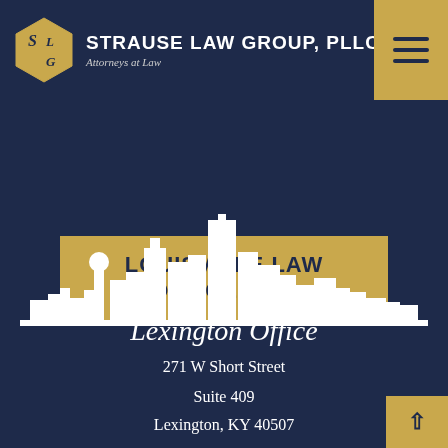STRAUSE LAW GROUP, PLLC — Attorneys at Law
LOUISVILLE LAW OFFICE MAP
[Figure (illustration): White silhouette of a city skyline on dark navy background]
Lexington Office
271 W Short Street
Suite 409
Lexington, KY 40507